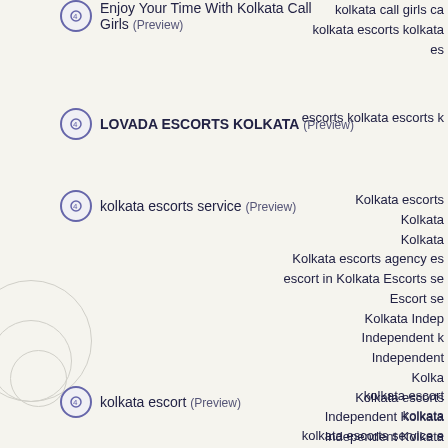Enjoy Your Time With Kolkata Call Girls (Preview)
kolkata call girls call kolkata escorts kolkata escorts
LOVADA ESCORTS KOLKATA (Preview)
escorts kolkata escorts k
kolkata escorts service (Preview)
Kolkata escorts Kolkata Kolkata Kolkata escorts agency escorts escort in Kolkata Escorts service Escort service Kolkata Independent Independent k Independent Kolkata Kolkata escorts Independent Kolkata Independent Kolkata Escorts Kolkata Escorts Escort Independent Escorts Independent Escort
kolkata escort (Preview)
kolkata escort kolkata kolkata escorts service escorts escorts in kolkata escorts service